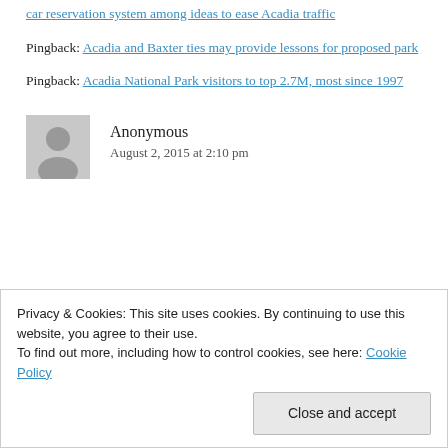Pingback: car reservation system among ideas to ease Acadia traffic
Pingback: Acadia and Baxter ties may provide lessons for proposed park
Pingback: Acadia National Park visitors to top 2.7M, most since 1997
Anonymous
August 2, 2015 at 2:10 pm
Privacy & Cookies: This site uses cookies. By continuing to use this website, you agree to their use.
To find out more, including how to control cookies, see here: Cookie Policy
Close and accept
spend on traffic solutions